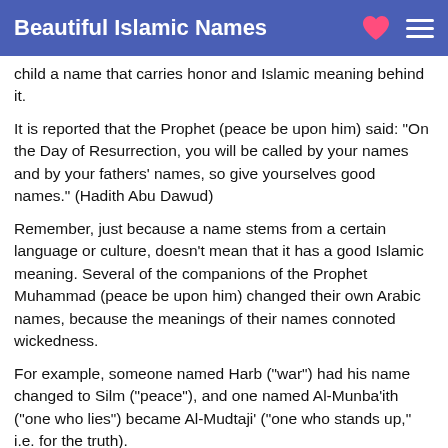Beautiful Islamic Names
child a name that carries honor and Islamic meaning behind it.
It is reported that the Prophet (peace be upon him) said: "On the Day of Resurrection, you will be called by your names and by your fathers' names, so give yourselves good names." (Hadith Abu Dawud)
Remember, just because a name stems from a certain language or culture, doesn’t mean that it has a good Islamic meaning. Several of the companions of the Prophet Muhammad (peace be upon him) changed their own Arabic names, because the meanings of their names connoted wickedness.
For example, someone named Harb ("war") had his name changed to Silm ("peace"), and one named Al-Munba'ith ("one who lies") became Al-Mudtaji' ("one who stands up," i.e. for the truth).
Share this via Social Media!